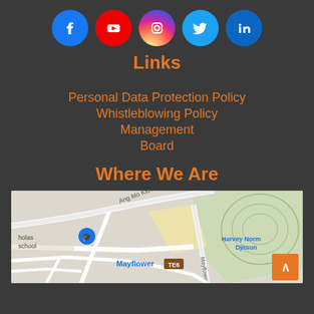[Figure (infographic): Row of 5 social media icons: Facebook (blue circle), YouTube (red circle), Instagram (pink/gradient circle), Twitter (light blue circle), LinkedIn (blue circle)]
Links
Personal Data Protection Policy
Whistleblowing Policy
Management
Board
Where We Are
[Figure (map): Google Maps showing Mayflower area with MRT station TE6, Ang Mo Kio Ave road, Harvey Norman Djitsun label, and a green park area]